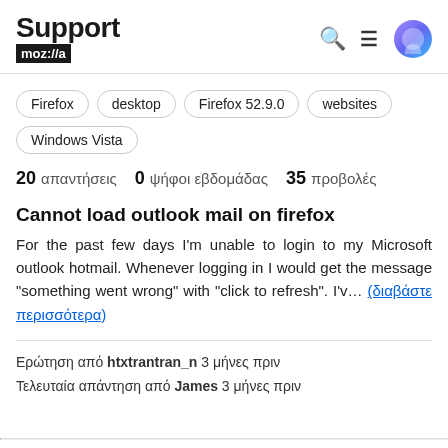Support mozilla//a
Firefox
desktop
Firefox 52.9.0
websites
Windows Vista
20 απαντήσεις   0 ψήφοι εβδομάδας   35 προβολές
Cannot load outlook mail on firefox
For the past few days I'm unable to login to my Microsoft outlook hotmail. Whenever logging in I would get the message "something went wrong" with "click to refresh". I'v... (διαβάστε περισσότερα)
Ερώτηση από htxtrantran_n 3 μήνες πριν
Τελευταία απάντηση από James 3 μήνες πριν